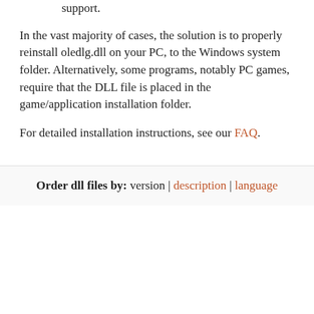support.
In the vast majority of cases, the solution is to properly reinstall oledlg.dll on your PC, to the Windows system folder. Alternatively, some programs, notably PC games, require that the DLL file is placed in the game/application installation folder.
For detailed installation instructions, see our FAQ.
Order dll files by:  version | description | language